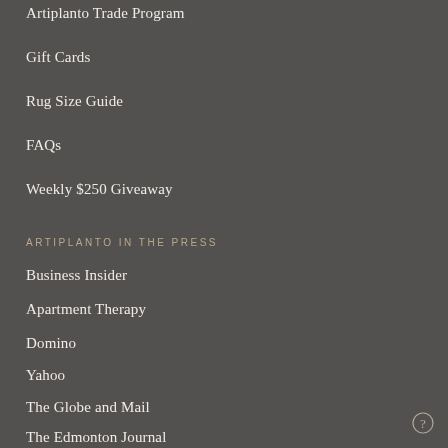Artiplanto Trade Program
Gift Cards
Rug Size Guide
FAQs
Weekly $250 Giveaway
ARTIPLANTO IN THE PRESS
Business Insider
Apartment Therapy
Domino
Yahoo
The Globe and Mail
The Edmonton Journal
Women's Health